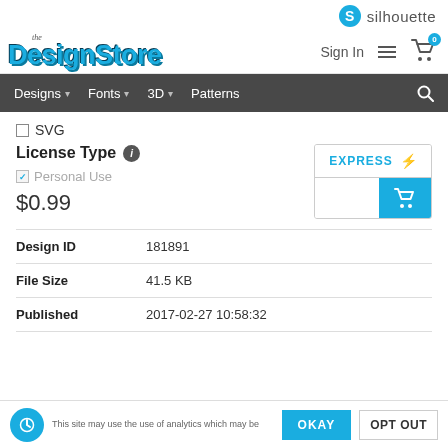[Figure (logo): Silhouette logo with teal circle and 'S' icon and text 'silhouette']
[Figure (logo): The Design Store logo in teal stylized text]
Sign In
Designs  Fonts  3D  Patterns
SVG
License Type
Personal Use
$0.99
EXPRESS
| Field | Value |
| --- | --- |
| Design ID | 181891 |
| File Size | 41.5 KB |
| Published | 2017-02-27 10:58:32 |
This site may use the use of analytics which may be
OKAY
OPT OUT